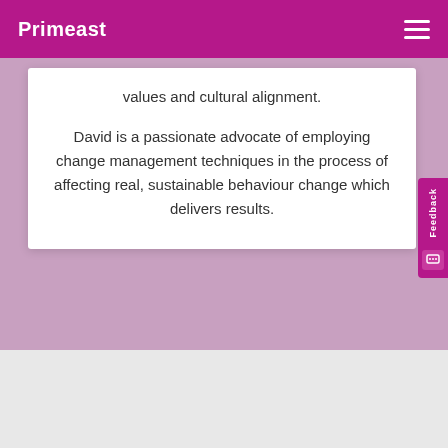Primeast
values and cultural alignment.
David is a passionate advocate of employing change management techniques in the process of affecting real, sustainable behaviour change which delivers results.